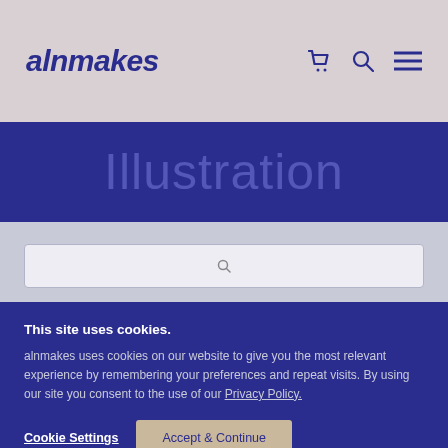alnmakes
Illustration
[Figure (screenshot): Search input box with a small cursor icon, on a light lavender-grey background]
This site uses cookies.
alnmakes uses cookies on our website to give you the most relevant experience by remembering your preferences and repeat visits. By using our site you consent to the use of our Privacy Policy.
Cookie Settings
Accept & Continue